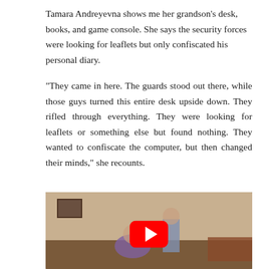Tamara Andreyevna shows me her grandson's desk, books, and game console. She says the security forces were looking for leaflets but only confiscated his personal diary.
“They came in here. The guards stood out there, while those guys turned this entire desk upside down. They rifled through everything. They were looking for leaflets or something else but found nothing. They wanted to confiscate the computer, but then changed their minds,” she recounts.
[Figure (screenshot): Embedded video player (Rutube) showing a still frame of two elderly women in a domestic interior. The top bar shows the Rutube logo (blue circle with arrow chevron) and Russian title 'Бабушка и прабабушка остал...' with a three-dot menu icon. A large red YouTube-style play button is centered in the video area.]